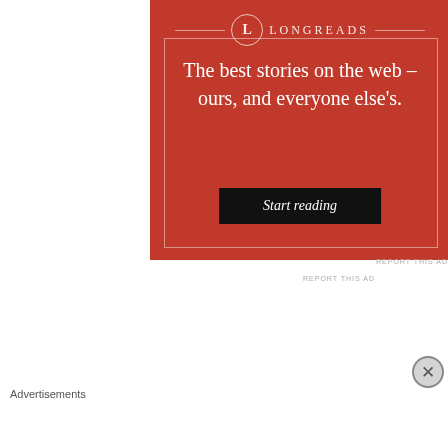[Figure (infographic): Longreads advertisement with red background, logo at top, tagline text, and 'Start reading' button]
REPORT THIS AD
[Figure (photo): Food photo on left - bowl with pasta/grain dish]
[Figure (photo): Food photo on right - baked/roasted dish with melted cheese]
Advertisements
[Figure (infographic): Bloomingdale's advertisement with logo, 'View Today's Top Deals!', model photo, and SHOP NOW button]